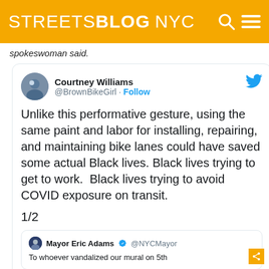STREETSBLOG NYC
spokeswoman said.
[Figure (screenshot): Embedded tweet from Courtney Williams (@BrownBikeGirl) with Follow button and Twitter bird logo. Tweet text: 'Unlike this performative gesture, using the same paint and labor for installing, repairing, and maintaining bike lanes could have saved some actual Black lives. Black lives trying to get to work.  Black lives trying to avoid COVID exposure on transit. 1/2' with a quoted tweet from Mayor Eric Adams @NYCMayor: 'To whoever vandalized our mural on 5th']